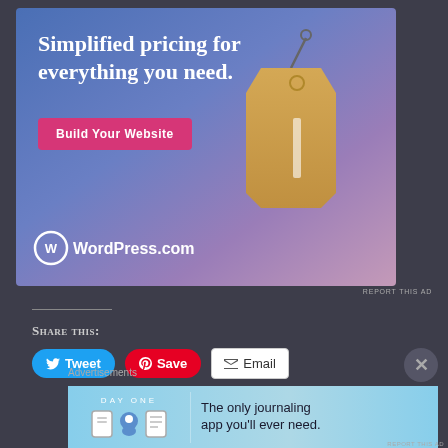[Figure (illustration): WordPress.com advertisement with gradient blue-pink background, price tag graphic, headline 'Simplified pricing for everything you need.', pink 'Build Your Website' button, and WordPress.com logo]
REPORT THIS AD
Share this:
[Figure (infographic): Social sharing buttons: Tweet (Twitter/X), Save (Pinterest), Email]
Advertisements
[Figure (illustration): Day One journaling app advertisement with light blue background, app icons, and text 'The only journaling app you'll ever need.']